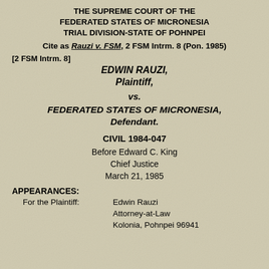THE SUPREME COURT OF THE FEDERATED STATES OF MICRONESIA TRIAL DIVISION-STATE OF POHNPEI
Cite as Rauzi v. FSM, 2 FSM Intrm. 8 (Pon. 1985)
[2 FSM Intrm. 8]
EDWIN RAUZI,
Plaintiff,
vs.
FEDERATED STATES OF MICRONESIA,
Defendant.
CIVIL 1984-047
Before Edward C. King
Chief Justice
March 21, 1985
APPEARANCES:
For the Plaintiff:	Edwin Rauzi
	Attorney-at-Law
	Kolonia, Pohnpei 96941